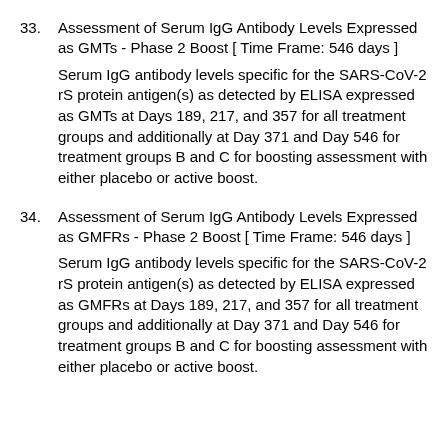33. Assessment of Serum IgG Antibody Levels Expressed as GMTs - Phase 2 Boost [ Time Frame: 546 days ]
Serum IgG antibody levels specific for the SARS-CoV-2 rS protein antigen(s) as detected by ELISA expressed as GMTs at Days 189, 217, and 357 for all treatment groups and additionally at Day 371 and Day 546 for treatment groups B and C for boosting assessment with either placebo or active boost.
34. Assessment of Serum IgG Antibody Levels Expressed as GMFRs - Phase 2 Boost [ Time Frame: 546 days ]
Serum IgG antibody levels specific for the SARS-CoV-2 rS protein antigen(s) as detected by ELISA expressed as GMFRs at Days 189, 217, and 357 for all treatment groups and additionally at Day 371 and Day 546 for treatment groups B and C for boosting assessment with either placebo or active boost.